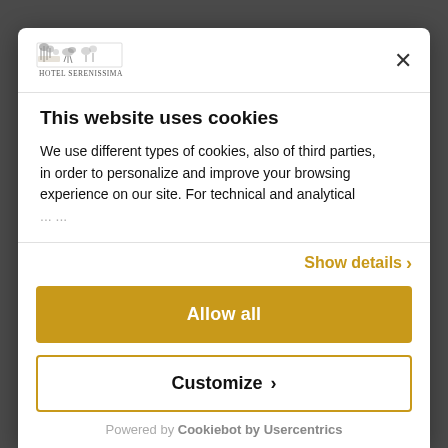[Figure (logo): Hotel Serenissima logo with decorative crest and text]
×
This website uses cookies
We use different types of cookies, also of third parties, in order to personalize and improve your browsing experience on our site. For technical and analytical
Show details ›
Allow all
Customize ›
Powered by Cookiebot by Usercentrics